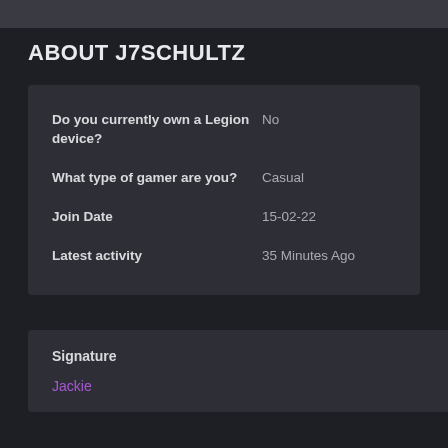ABOUT J7SCHULTZ
| Field | Value |
| --- | --- |
| Do you currently own a Legion device? | No |
| What type of gamer are you? | Casual |
| Join Date | 15-02-22 |
| Latest activity | 35 Minutes Ago |
Signature
Jackie